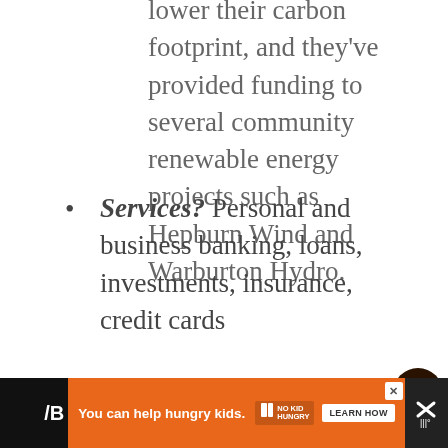lower their carbon footprint, and they've provided funding to several community renewable energy projects such as Hepburn Wind and Warburton Hydro.
Services? Personal and business banking, loans, investments, insurance, credit cards
Availability? Nationwide, online banking options
[Figure (other): Floating action buttons: heart/like button with count 12, and a share button]
[Figure (other): Advertisement banner: 'You can help hungry kids.' with No Kid Hungry logo and Learn How button on orange background]